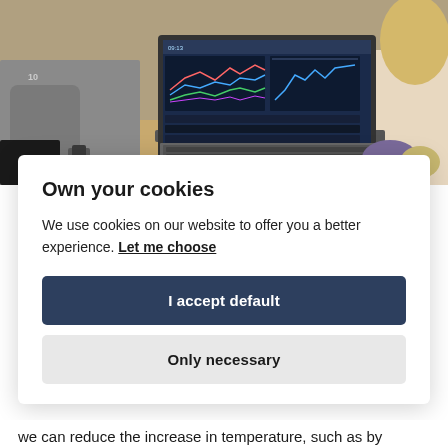[Figure (photo): Photo of people around a laptop showing a financial trading dashboard with charts and data. Two people are seen from behind/side, one pointing at the laptop screen.]
Own your cookies
We use cookies on our website to offer you a better experience. Let me choose
I accept default
Only necessary
we can reduce the increase in temperature, such as by